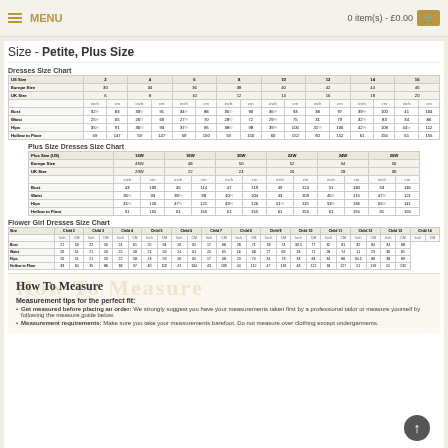MENU  0 item(s) - £0.00
Size - Petite, Plus Size
Dresses Size Chart
| US Size | 2 | 4 | 6 | 8 | 10 | 12 | 14 | 16 |
| --- | --- | --- | --- | --- | --- | --- | --- | --- |
| Europe Size | 30 | 34 | 36 | 38 | 40 | 42 | 44 | 46 |
| UK Size | 6 | 8 | 10 | 12 | 14 | 16 | 18 | 20 |
|  | inch | cm | inch | cm | inch | cm | inch | cm | inch | cm | inch | cm | inch | cm | inch | cm |
| Bust | 32½ | 83 | 33½ | 91 | 34½ | 88 | 35½ | 90 | 36½ | 93 | 38 | 97 | 39½ | 100 | 41 | 104 |
| Waist | 25½ | 65 | 26½ | 69 | 27½ | 70 | 28½ | 72 | 29½ | 75 | 31 | 79 | 32½ | 83 | 34 | 86 |
| Hips | 35½ | 91 | 36½ | 93 | 37½ | 96 | 38½ | 98 | 39½ | 100 | 41½ | 106 | 42½ | 108 | 44½ | 112 |
| Hollow to Floor | 59 | 147 | 59 | 147 | 59 | 150 | 59 | 150 | 60 | 152 | 60 | 152 | 61 | 155 | 61 | 155 |
Plus Size Dresses Size Chart
| Plus Size (US) | 16W | 18W | 20W | 22W | 24W | 26W |
| --- | --- | --- | --- | --- | --- | --- |
| Europe Size | 46W | 48 | 50 | 52 | 54 | 56 |
| UK Size | 20W | 22 | 24 | 26 | 28 | 30 |
|  | inch | cm | inch | cm | inch | cm | inch | cm | inch | cm | inch | cm |
| Bust | 43 | 109 | 45 | 114 | 47 | 119 | 49 | 124 | 51 | 130 | 53 | 135 |
| Waist | 36½ | 93 | 39½ | 98 | 40½ | 104 | 43 | 109 | 45½ | 115 | 47½ | 121 |
| Hips | 45½ | 116 | 47½ | 121 | 49½ | 126 | 51½ | 131 | 53½ | 136 | 55½ | 141 |
| Hollow to Floor | 61 | 155 | 61 | 155 | 61 | 155 | 61 | 155 | 61 | 155 | 61 | 155 |
Flower Girl Dresses Size Chart
| Size | Child 2 | Child 3 | Child 4 | Child 5 | Child 6 | Child 7 | Child 8 | Child 9 | Child 10 | Child 11 | Child 12 | Child 13 | Child 14 |
| --- | --- | --- | --- | --- | --- | --- | --- | --- | --- | --- | --- | --- | --- |
| Bust | 21½ | 22½ | 23 | 24 | 25 | 26 | 27 | 28 | 29 | 30 | 31 | 32 | 33 | 34 |
| Waist | 20 | 21 | 22 | 23 | 24 | 25 | 26 | 27 | 28 | 29 | 30 | 31 | 32 | 33 |
| Hips | 20 | 21 | 22 | 23 | 24 | 25 | 26 | 27 | 28 | 29 | 30 | 31 | 34.5 | 38 |
| Hollow to Floor | 33 | 35 | 38 | 40 | 41 | 43 | 45 | 47 | 49 | 51 | 52 | 53 | 54 | 52 |
How To Measure
Measurement tips for the perfect fit:
Get measured before placing an order: We strongly suggest you have your measurements taken first by a professional tailor or measure yourself by following the measure guide below.
Measurement requirements: Make sure you take your measurements barefoot. Do not measure over clothing except undergarments.